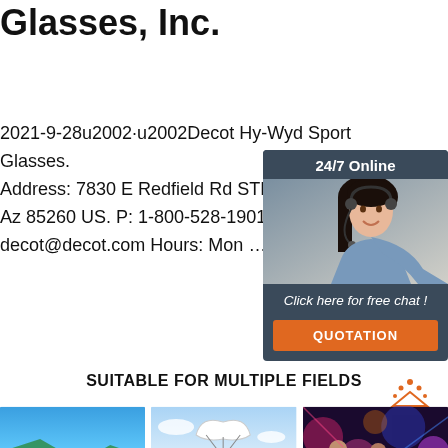Glasses, Inc.
2021-9-28u2002·u2002Decot Hy-Wyd Sport Glasses. Address: 7830 E Redfield Rd STE 11 & 1… Scottsdale Az 85260 US. P: 1-800-528-1901 F: 602-… decot@decot.com Hours: Mon …
[Figure (illustration): Customer service representative with headset, dark background widget. Header: '24/7 Online'. Footer text: 'Click here for free chat!'. Button: 'QUOTATION'.]
Get Price
SUITABLE FOR MULTIPLE FIELDS
[Figure (illustration): TOP badge icon with orange dots and text]
[Figure (photo): Aerial view with blue tones, outdoor/aviation scene]
[Figure (photo): Sky/parachute scene]
[Figure (photo): Nightclub/party scene with people wearing sunglasses and colored lights]